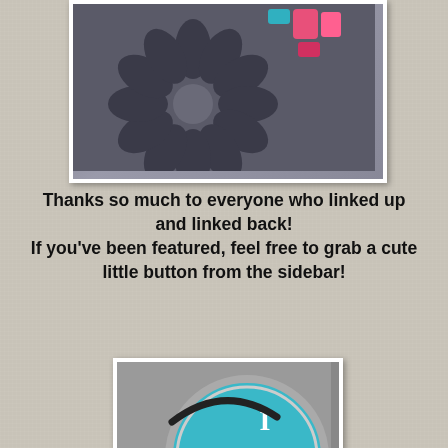[Figure (photo): Top photo showing a decorative circular petal/fan pattern rug or mat from above, with colorful craft supplies/spools in corner]
Thanks so much to everyone who linked up and linked back!
If you've been featured, feel free to grab a cute little button from the sidebar!
[Figure (photo): Badge/button image showing a paint can lid with text 'I InSpired the girls @ Elizabeth & Co.' on a teal/turquoise background]
And don't forget that you can share your